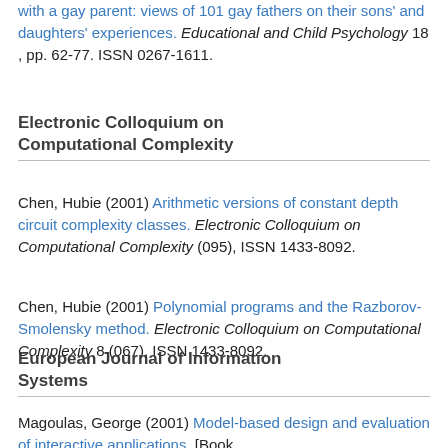with a gay parent: views of 101 gay fathers on their sons' and daughters' experiences. Educational and Child Psychology 18 , pp. 62-77. ISSN 0267-1611.
Electronic Colloquium on Computational Complexity
Chen, Hubie (2001) Arithmetic versions of constant depth circuit complexity classes. Electronic Colloquium on Computational Complexity (095), ISSN 1433-8092.
Chen, Hubie (2001) Polynomial programs and the Razborov-Smolensky method. Electronic Colloquium on Computational Complexity 8 (067), ISSN 1433-8092.
European Journal of Information Systems
Magoulas, George (2001) Model-based design and evaluation of interactive applications. [Book Review]